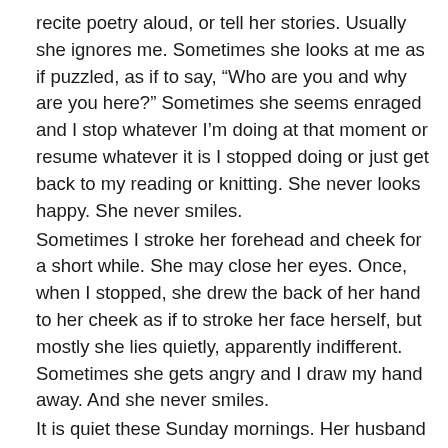recite poetry aloud, or tell her stories. Usually she ignores me. Sometimes she looks at me as if puzzled, as if to say, “Who are you and why are you here?” Sometimes she seems enraged and I stop whatever I’m doing at that moment or resume whatever it is I stopped doing or just get back to my reading or knitting. She never looks happy. She never smiles.
Sometimes I stroke her forehead and cheek for a short while. She may close her eyes. Once, when I stopped, she drew the back of her hand to her cheek as if to stroke her face herself, but mostly she lies quietly, apparently indifferent. Sometimes she gets angry and I draw my hand away. And she never smiles.
It is quiet these Sunday mornings. Her husband leaves the radio playing softly, oldies mostly. I don’t think she pays attention. I have a quiet time to read the Sunday paper, to